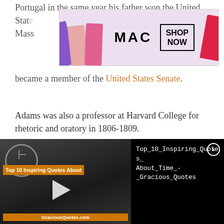Portugal in the same year his father won the United States... Massachusetts... became a member of the United States Senate.
[Figure (photo): MAC cosmetics advertisement banner showing colorful lipsticks and SHOP NOW button]
Adams was also a professor at Harvard College for rhetoric and oratory in 1806-1809.
He was selected to become the secretary of state for the cabinet of President James Monroe in 1817, in this time Adams was a key figure in the Monroe Doctrine.
On March 4, 1825, Adams was inaugurated as president, during his term he pursued the grant of
[Figure (screenshot): Video thumbnail for Top 10 Inspiring Quotes About Time from GraciousQuotes.com with play button, and video info panel showing title Top_10_Inspiring_Quotes_About_Time_-_Gracious_Quotes on black background with close button]